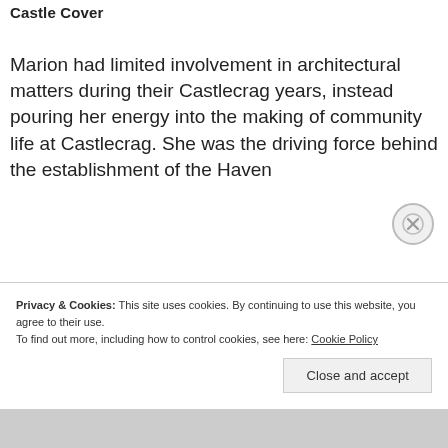Castle Cover
Marion had limited involvement in architectural matters during their Castlecrag years, instead pouring her energy into the making of community life at Castlecrag. She was the driving force behind the establishment of the Haven
Privacy & Cookies: This site uses cookies. By continuing to use this website, you agree to their use.
To find out more, including how to control cookies, see here: Cookie Policy
Close and accept